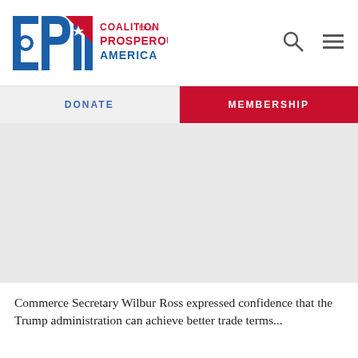[Figure (logo): Coalition for a Prosperous America (CPA) logo with blue and red lettering and star emblem]
DONATE  MEMBERSHIP
[Figure (photo): Large gray image area (article hero image, content not visible)]
Commerce Secretary Wilbur Ross expressed confidence that the Trump administration can achieve better trade terms...